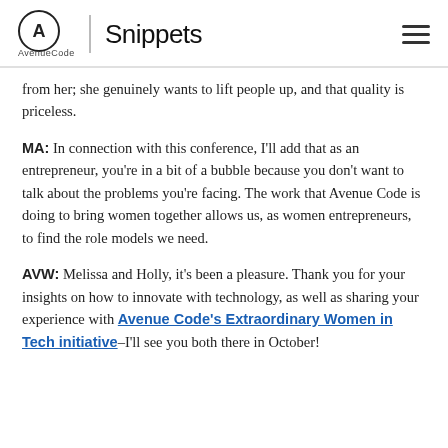AvenueCode | Snippets
from her; she genuinely wants to lift people up, and that quality is priceless.
MA: In connection with this conference, I'll add that as an entrepreneur, you're in a bit of a bubble because you don't want to talk about the problems you're facing. The work that Avenue Code is doing to bring women together allows us, as women entrepreneurs, to find the role models we need.
AVW: Melissa and Holly, it's been a pleasure. Thank you for your insights on how to innovate with technology, as well as sharing your experience with Avenue Code's Extraordinary Women in Tech initiative–I'll see you both there in October!